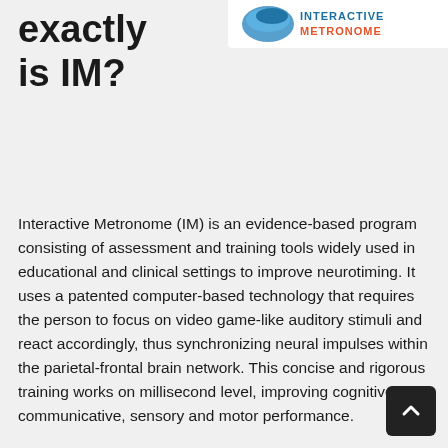[Figure (logo): Interactive Metronome logo with blue circular graphic and colored text on white background, partially visible at top right]
exactly is IM?
Interactive Metronome (IM) is an evidence-based program consisting of assessment and training tools widely used in educational and clinical settings to improve neurotiming. It uses a patented computer-based technology that requires the person to focus on video game-like auditory stimuli and react accordingly, thus synchronizing neural impulses within the parietal-frontal brain network. This concise and rigorous training works on millisecond level, improving cognitive, communicative, sensory and motor performance.